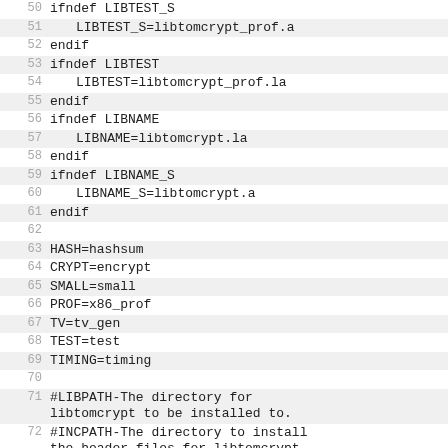50  ifndef LIBTEST_S
51      LIBTEST_S=libtomcrypt_prof.a
52  endif
53  ifndef LIBTEST
54      LIBTEST=libtomcrypt_prof.la
55  endif
56  ifndef LIBNAME
57      LIBNAME=libtomcrypt.la
58  endif
59  ifndef LIBNAME_S
60      LIBNAME_S=libtomcrypt.a
61  endif
62  
63  HASH=hashsum
64  CRYPT=encrypt
65  SMALL=small
66  PROF=x86_prof
67  TV=tv_gen
68  TEST=test
69  TIMING=timing
70  
71  #LIBPATH-The directory for libtomcrypt to be installed to.
72  #INCPATH-The directory to install the header files for libtomcrypt.
73  #DATAPATH-The directory to install the pdf docs.
74  ifndef DESTDIR
75  DESTDIR=